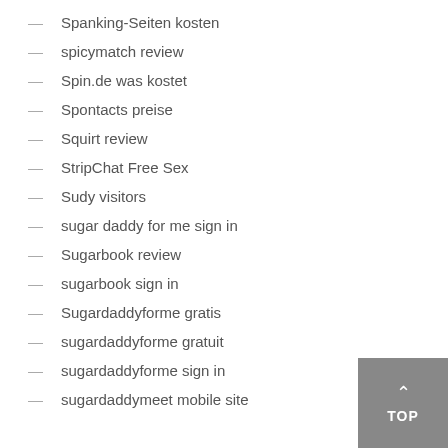Spanking-Seiten kosten
spicymatch review
Spin.de was kostet
Spontacts preise
Squirt review
StripChat Free Sex
Sudy visitors
sugar daddy for me sign in
Sugarbook review
sugarbook sign in
Sugardaddyforme gratis
sugardaddyforme gratuit
sugardaddyforme sign in
sugardaddymeet mobile site